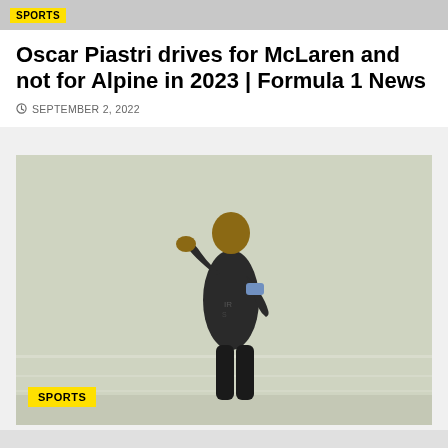SPORTS
Oscar Piastri drives for McLaren and not for Alpine in 2023 | Formula 1 News
SEPTEMBER 2, 2022
[Figure (photo): A footballer wearing a dark jersey with a light blue armband stands on a foggy green pitch, covering his mouth with one hand. A yellow SPORTS tag is visible in the bottom-left corner of the image.]
SPORTS